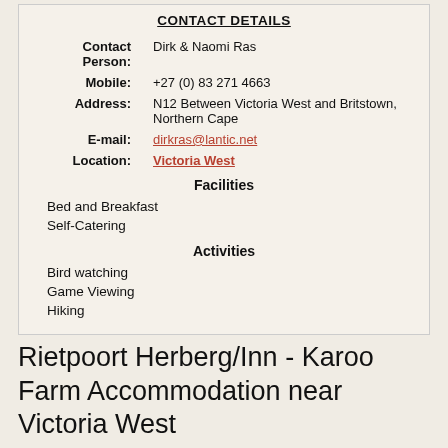CONTACT DETAILS
| Label | Value |
| --- | --- |
| Contact Person: | Dirk & Naomi Ras |
| Mobile: | +27 (0) 83 271 4663 |
| Address: | N12 Between Victoria West and Britstown, Northern Cape |
| E-mail: | dirkras@lantic.net |
| Location: | Victoria West |
Facilities
Bed and Breakfast
Self-Catering
Activities
Bird watching
Game Viewing
Hiking
Rietpoort Herberg/Inn - Karoo Farm Accommodation near Victoria West